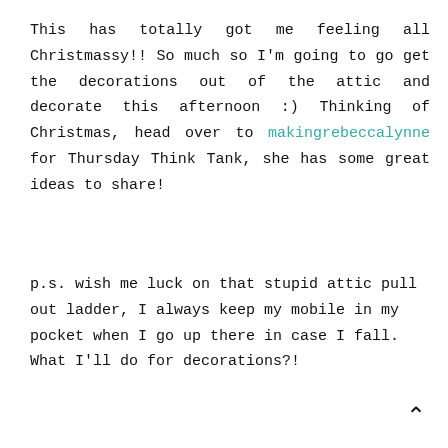This has totally got me feeling all Christmassy!! So much so I'm going to go get the decorations out of the attic and decorate this afternoon :) Thinking of Christmas, head over to makingrebeccalynne for Thursday Think Tank, she has some great ideas to share!
p.s. wish me luck on that stupid attic pull out ladder, I always keep my mobile in my pocket when I go up there in case I fall. What I'll do for decorations?!